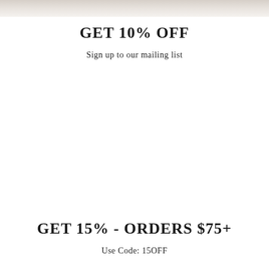[Figure (photo): Top strip showing a faded/blurred banner image in neutral beige/tan tones]
GET 10% OFF
Sign up to our mailing list
GET 15% - ORDERS $75+
Use Code: 15OFF